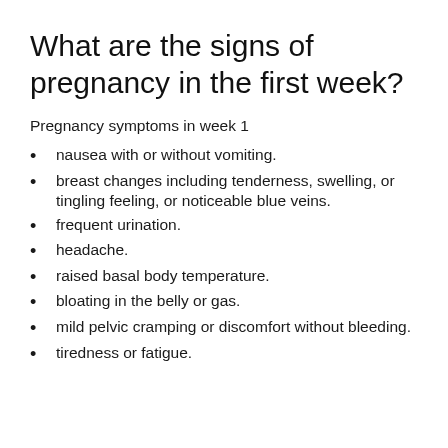What are the signs of pregnancy in the first week?
Pregnancy symptoms in week 1
nausea with or without vomiting.
breast changes including tenderness, swelling, or tingling feeling, or noticeable blue veins.
frequent urination.
headache.
raised basal body temperature.
bloating in the belly or gas.
mild pelvic cramping or discomfort without bleeding.
tiredness or fatigue.